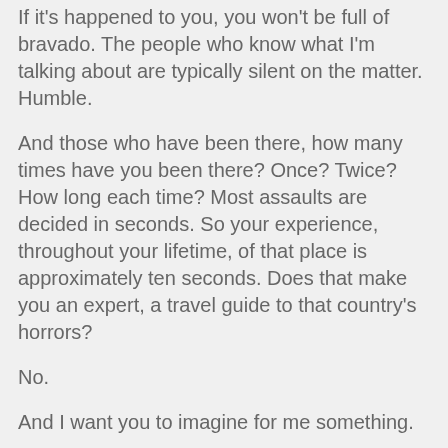If it's happened to you, you won't be full of bravado. The people who know what I'm talking about are typically silent on the matter. Humble.
And those who have been there, how many times have you been there? Once? Twice? How long each time? Most assaults are decided in seconds. So your experience, throughout your lifetime, of that place is approximately ten seconds. Does that make you an expert, a travel guide to that country's horrors?
No.
And I want you to imagine for me something.
Someone.
IMAGINE THIS PERSON...